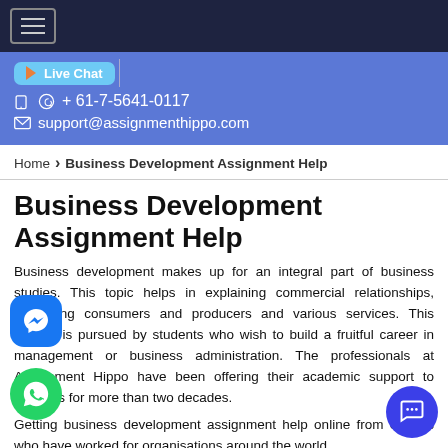[Navigation header with hamburger menu]
[Figure (screenshot): Blue header bar with live chat button, phone number +61-7-5641-0117, and email support@assignmenthippo.com]
Home › Business Development Assignment Help
Business Development Assignment Help
Business development makes up for an integral part of business studies. This topic helps in explaining commercial relationships, identifying consumers and producers and various services. This subject is pursued by students who wish to build a fruitful career in management or business administration. The professionals at Assignment Hippo have been offering their academic support to students for more than two decades.
Getting business development assignment help online from experts who have worked for organisations around the world.